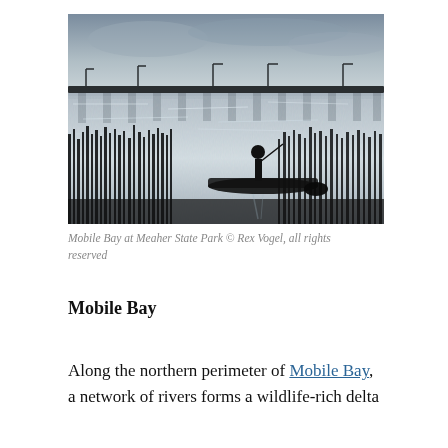[Figure (photo): Silhouette of a person standing on a fishing boat among marsh grasses, with a long bridge visible in the background over sparkling water at Mobile Bay, Meaher State Park. Moody, backlit scene.]
Mobile Bay at Meaher State Park © Rex Vogel, all rights reserved
Mobile Bay
Along the northern perimeter of Mobile Bay, a network of rivers forms a wildlife-rich delta